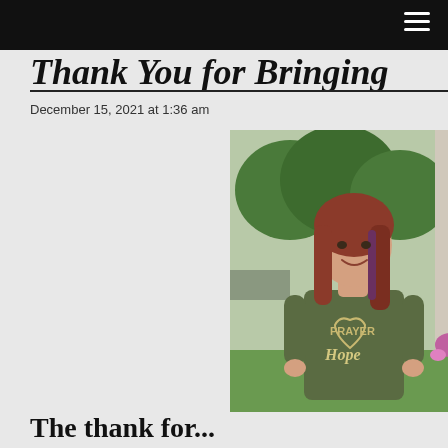Thank You for Bringing...
December 15, 2021 at 1:36 am
[Figure (photo): A young woman with long reddish-brown hair smiling, wearing an olive green t-shirt with 'Prayer & Hope' text/design, standing in front of a garden with flowers and greenery in the background.]
Thank you for...